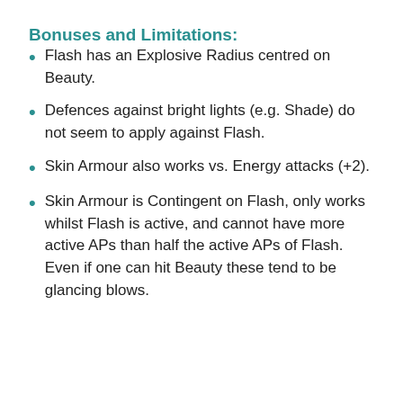Bonuses and Limitations:
Flash has an Explosive Radius centred on Beauty.
Defences against bright lights (e.g. Shade) do not seem to apply against Flash.
Skin Armour also works vs. Energy attacks (+2).
Skin Armour is Contingent on Flash, only works whilst Flash is active, and cannot have more active APs than half the active APs of Flash.   Even if one can hit Beauty these tend to be glancing blows.